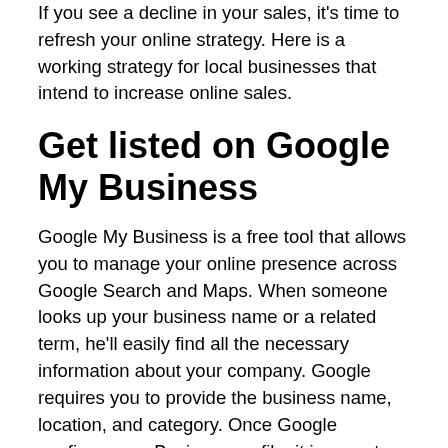If you see a decline in your sales, it's time to refresh your online strategy. Here is a working strategy for local businesses that intend to increase online sales.
Get listed on Google My Business
Google My Business is a free tool that allows you to manage your online presence across Google Search and Maps. When someone looks up your business name or a related term, he'll easily find all the necessary information about your company. Google requires you to provide the business name, location, and category. Once Google confirms your Business profile, it is open to customers to leave reviews, add photos and ask questions.
What are the main Google My Business benefits?
1. Your business will show up in Google Maps searches and boost sales.